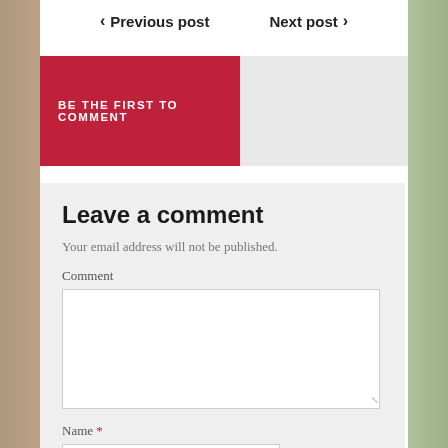< Previous post    Next post >
BE THE FIRST TO COMMENT
Leave a comment
Your email address will not be published.
Comment
Name *
Email *